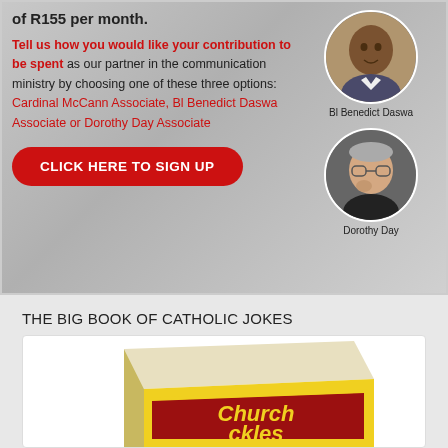[Figure (infographic): Promotional banner with text about communication ministry contribution options (Cardinal McCann Associate, Bl Benedict Daswa Associate, Dorothy Day Associate), a red 'CLICK HERE TO SIGN UP' button, and circular portrait photos of Bl Benedict Daswa and Dorothy Day.]
THE BIG BOOK OF CATHOLIC JOKES
[Figure (photo): A book titled 'Church Chuckles' shown in perspective view with yellow and red cover design.]